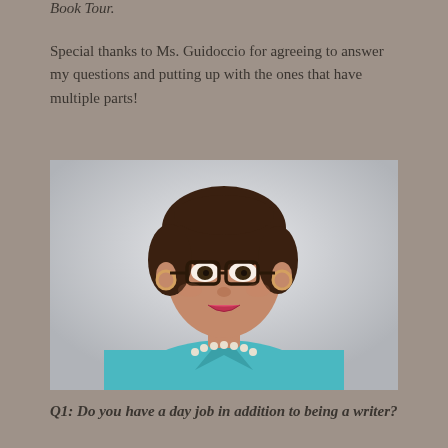Book Tour.
Special thanks to Ms. Guidoccio for agreeing to answer my questions and putting up with the ones that have multiple parts!
[Figure (photo): Professional headshot of a woman with short dark hair, wearing glasses, a teal/turquoise blazer, pearl necklace, and hoop earrings, smiling at the camera against a light background.]
Q1: Do you have a day job in addition to being a writer?